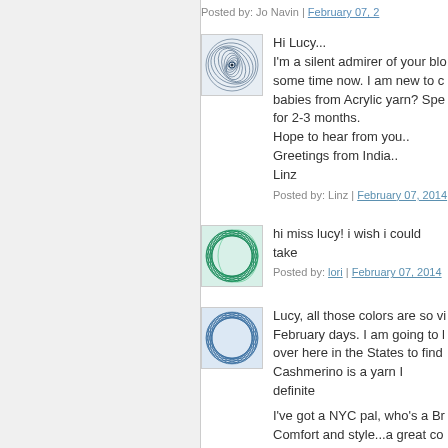Posted by: Jo Navin | February 07, 2014
[Figure (illustration): Circular spiral geometric pattern avatar - dark blue on light background]
Hi Lucy...
I'm a silent admirer of your blog for some time now. I am new to crochet. babies from Acrylic yarn? Specially for 2-3 months.
Hope to hear from you..
Greetings from India..
Linz
Posted by: Linz | February 07, 2014
[Figure (illustration): Green curved grid geometric pattern avatar]
hi miss lucy! i wish i could take
Posted by: lori | February 07, 2014
[Figure (illustration): Blue curved grid geometric pattern avatar]
Lucy, all those colors are so vi February days. I am going to l over here in the States to find Cashmerino is a yarn I definite
I've got a NYC pal, who's a Br Comfort and style...a great co
Posted by: